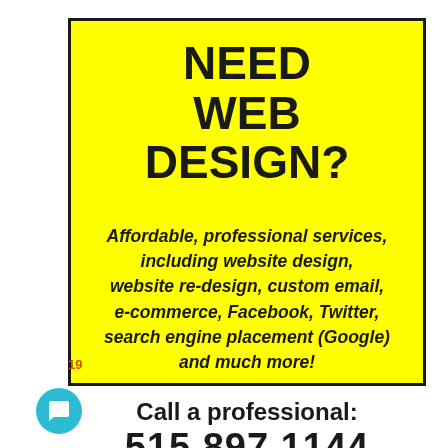NEED WEB DESIGN?
Affordable, professional services, including website design, website re-design, custom email, e-commerce, Facebook, Twitter, search engine placement (Google) and much more!
Call a professional:
515.897.1144
19